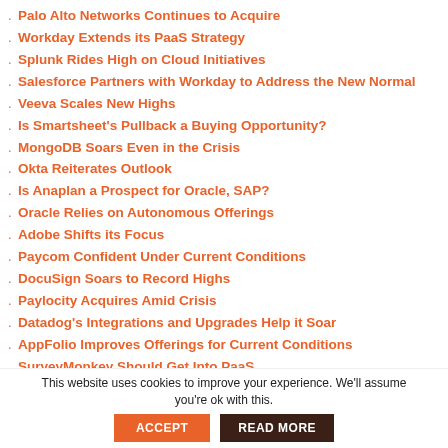Palo Alto Networks Continues to Acquire
Workday Extends its PaaS Strategy
Splunk Rides High on Cloud Initiatives
Salesforce Partners with Workday to Address the New Normal
Veeva Scales New Highs
Is Smartsheet's Pullback a Buying Opportunity?
MongoDB Soars Even in the Crisis
Okta Reiterates Outlook
Is Anaplan a Prospect for Oracle, SAP?
Oracle Relies on Autonomous Offerings
Adobe Shifts its Focus
Paycom Confident Under Current Conditions
DocuSign Soars to Record Highs
Paylocity Acquires Amid Crisis
Datadog's Integrations and Upgrades Help it Soar
AppFolio Improves Offerings for Current Conditions
SurveyMonkey Should Get Into PaaS
Model N Soars to a Record High
Appian Focuses on RPA for Growth
This website uses cookies to improve your experience. We'll assume you're ok with this.